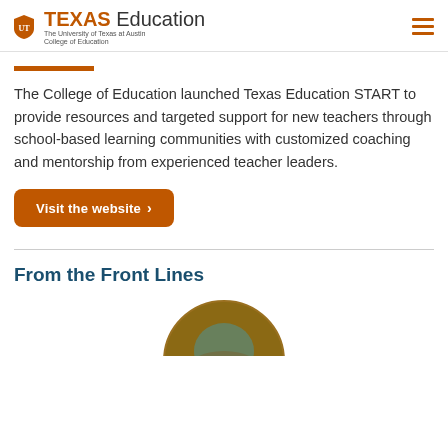TEXAS Education — The University of Texas at Austin College of Education
The College of Education launched Texas Education START to provide resources and targeted support for new teachers through school-based learning communities with customized coaching and mentorship from experienced teacher leaders.
Visit the website >
From the Front Lines
[Figure (photo): Circular cropped photo of a person, partially visible at the bottom of the page]